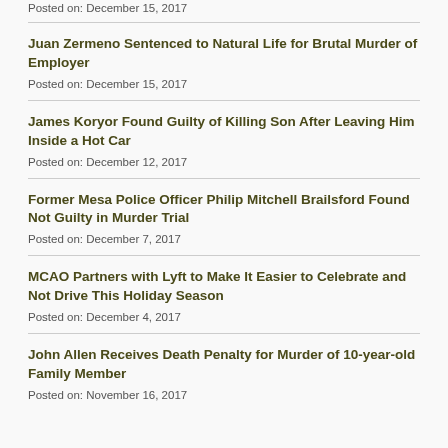Posted on: December 15, 2017
Juan Zermeno Sentenced to Natural Life for Brutal Murder of Employer
Posted on: December 15, 2017
James Koryor Found Guilty of Killing Son After Leaving Him Inside a Hot Car
Posted on: December 12, 2017
Former Mesa Police Officer Philip Mitchell Brailsford Found Not Guilty in Murder Trial
Posted on: December 7, 2017
MCAO Partners with Lyft to Make It Easier to Celebrate and Not Drive This Holiday Season
Posted on: December 4, 2017
John Allen Receives Death Penalty for Murder of 10-year-old Family Member
Posted on: November 16, 2017